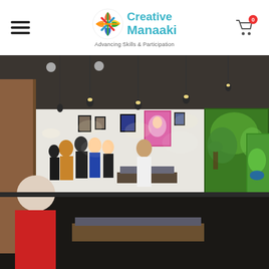[Figure (logo): Creative Manaaki logo with colorful circular icon and tagline 'Advancing Skills & Participation']
[Figure (photo): Interior of an art gallery with people viewing paintings hung on white walls. Pendant lights hang from ceiling. Benches/ottomans visible. Large colorful artworks on right wall.]